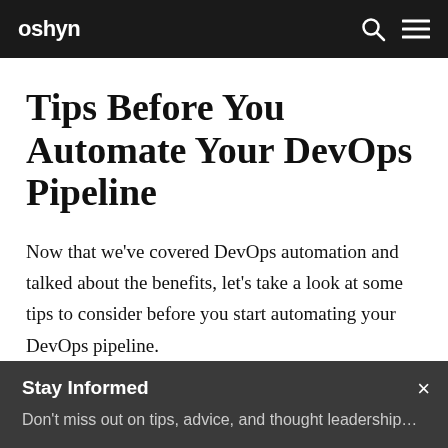oshyn
Tips Before You Automate Your DevOps Pipeline
Now that we've covered DevOps automation and talked about the benefits, let's take a look at some tips to consider before you start automating your DevOps pipeline.
Stay Informed
Don't miss out on tips, advice, and thought leadership…